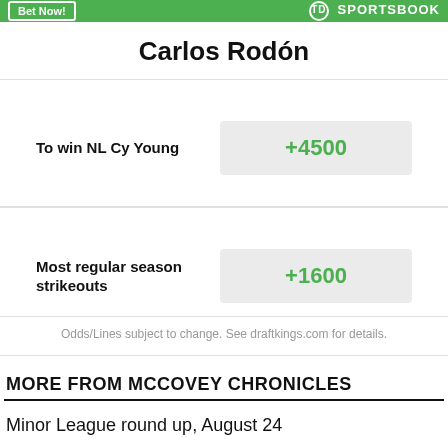Bet Now! TD SPORTSBOOK
Carlos Rodón
| Bet | Odds |
| --- | --- |
| To win NL Cy Young | +4500 |
| Most regular season strikeouts | +1600 |
Odds/Lines subject to change. See draftkings.com for details.
MORE FROM MCCOVEY CHRONICLES
Minor League round up, August 24